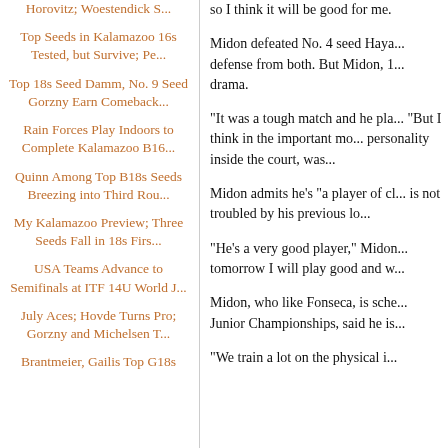Horovitz; Woestendick S...
Top Seeds in Kalamazoo 16s Tested, but Survive; Pe...
Top 18s Seed Damm, No. 9 Seed Gorzny Earn Comeback...
Rain Forces Play Indoors to Complete Kalamazoo B16...
Quinn Among Top B18s Seeds Breezing into Third Rou...
My Kalamazoo Preview; Three Seeds Fall in 18s Firs...
USA Teams Advance to Semifinals at ITF 14U World J...
July Aces; Hovde Turns Pro; Gorzny and Michelsen T...
Brantmeier, Gailis Top G18s
so I think it will be good for me.
Midon defeated No. 4 seed Haya... defense from both. But Midon, 1... drama.
"It was a tough match and he pla... "But I think in the important mo... personality inside the court, was...
Midon admits he's "a player of cl... is not troubled by his previous lo...
"He's a very good player," Midon... tomorrow I will play good and w...
Midon, who like Fonseca, is sche... Junior Championships, said he is...
"We train a lot on the physical i...